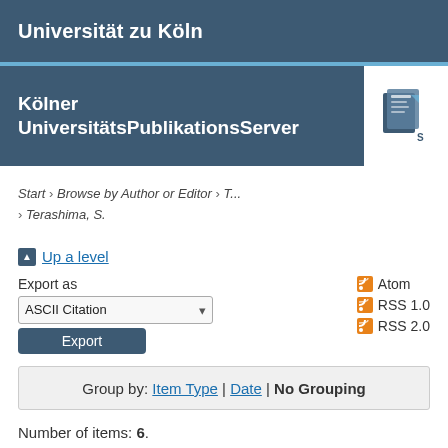Universität zu Köln
Kölner UniversitätsPublikationsServer
Start › Browse by Author or Editor › T... › Terashima, S.
▲ Up a level
Export as
ASCII Citation
Export
Atom
RSS 1.0
RSS 2.0
Group by: Item Type | Date | No Grouping
Number of items: 6.